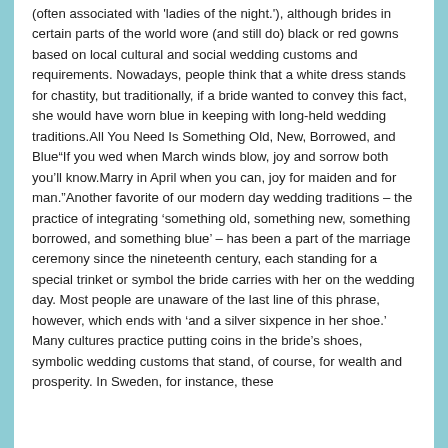(often associated with 'ladies of the night.'), although brides in certain parts of the world wore (and still do) black or red gowns based on local cultural and social wedding customs and requirements. Nowadays, people think that a white dress stands for chastity, but traditionally, if a bride wanted to convey this fact, she would have worn blue in keeping with long-held wedding traditions.All You Need Is Something Old, New, Borrowed, and Blue"If you wed when March winds blow, joy and sorrow both you'll know.Marry in April when you can, joy for maiden and for man."Another favorite of our modern day wedding traditions – the practice of integrating 'something old, something new, something borrowed, and something blue' – has been a part of the marriage ceremony since the nineteenth century, each standing for a special trinket or symbol the bride carries with her on the wedding day. Most people are unaware of the last line of this phrase, however, which ends with 'and a silver sixpence in her shoe.' Many cultures practice putting coins in the bride's shoes, symbolic wedding customs that stand, of course, for wealth and prosperity. In Sweden, for instance, these